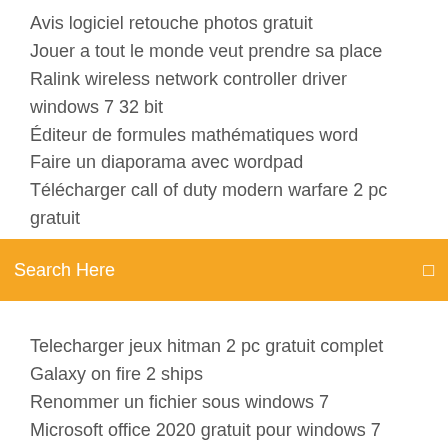Avis logiciel retouche photos gratuit
Jouer a tout le monde veut prendre sa place
Ralink wireless network controller driver windows 7 32 bit
Éditeur de formules mathématiques word
Faire un diaporama avec wordpad
Télécharger call of duty modern warfare 2 pc gratuit
[Figure (screenshot): Orange search bar with text 'Search Here' and a search icon on the right]
Telecharger jeux hitman 2 pc gratuit complet
Galaxy on fire 2 ships
Renommer un fichier sous windows 7
Microsoft office 2020 gratuit pour windows 7
Best site to télécharger movies using utorrent
Telecharger need for speed rivals ps3 gratuit
Star wars rivals apk update
Tinder windows phone app
Telecharger architecte 3d gratuit en ligne
Jeux gratuits sur android a telecharger